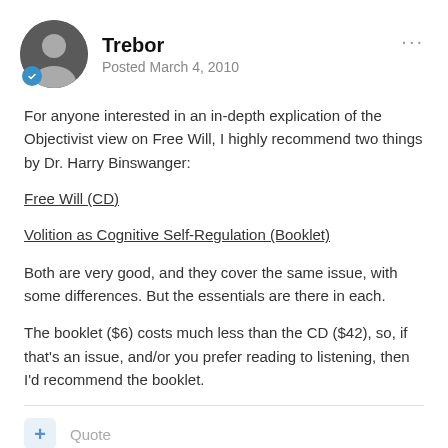Trebor — Posted March 4, 2010
For anyone interested in an in-depth explication of the Objectivist view on Free Will, I highly recommend two things by Dr. Harry Binswanger:
Free Will (CD)
Volition as Cognitive Self-Regulation (Booklet)
Both are very good, and they cover the same issue, with some differences. But the essentials are there in each.
The booklet ($6) costs much less than the CD ($42), so, if that's an issue, and/or you prefer reading to listening, then I'd recommend the booklet.